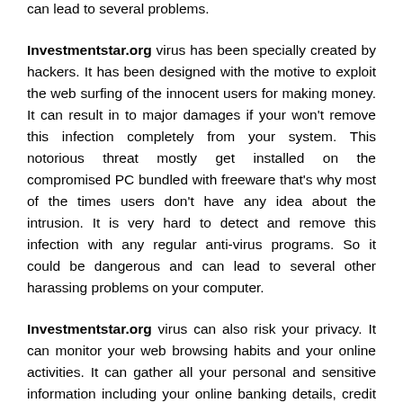can lead to several problems.
Investmentstar.org virus has been specially created by hackers. It has been designed with the motive to exploit the web surfing of the innocent users for making money. It can result in to major damages if your won't remove this infection completely from your system. This notorious threat mostly get installed on the compromised PC bundled with freeware that's why most of the times users don't have any idea about the intrusion. It is very hard to detect and remove this infection with any regular anti-virus programs. So it could be dangerous and can lead to several other harassing problems on your computer.
Investmentstar.org virus can also risk your privacy. It can monitor your web browsing habits and your online activities. It can gather all your personal and sensitive information including your online banking details, credit card and debit card numbers, IP address and many more. It can share all those details remote hackers who can use your private information for illegal purpose and can also